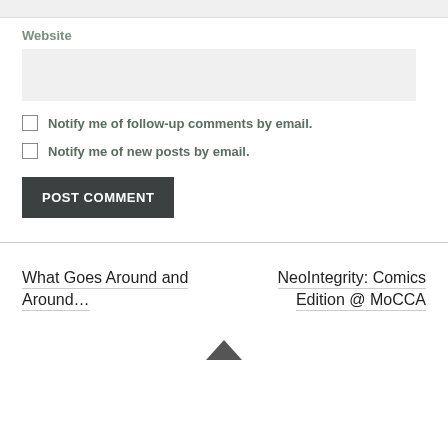Website
Notify me of follow-up comments by email.
Notify me of new posts by email.
POST COMMENT
What Goes Around and Around…
NeoIntegrity: Comics Edition @ MoCCA